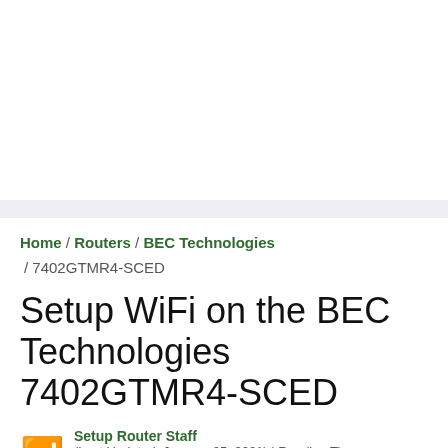Home / Routers / BEC Technologies / 7402GTMR4-SCED
Setup WiFi on the BEC Technologies 7402GTMR4-SCED
Setup Router Staff (Last Updated: January 25, 2021) | Reading Time: